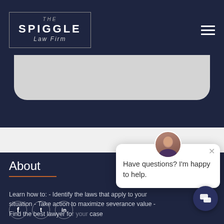THE SPIGGLE Law Firm
[Figure (screenshot): Gray rounded card element, partially visible below the header navigation bar]
About
Learn how to: - Identify the laws that apply to your situation - Take action to maximize severance value - Find the best lawyer for your case
[Figure (screenshot): Chat popup widget with avatar photo and message: Have questions? I'm happy to help. With close X button.]
[Figure (other): Chat icon button at bottom right]